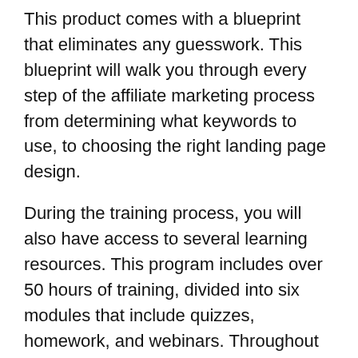This product comes with a blueprint that eliminates any guesswork. This blueprint will walk you through every step of the affiliate marketing process from determining what keywords to use, to choosing the right landing page design.
During the training process, you will also have access to several learning resources. This program includes over 50 hours of training, divided into six modules that include quizzes, homework, and webinars. Throughout the training, you’ll be able to ask questions, receive feedback, and become more comfortable with your business. In addition, you’ll be able to schedule 1-on-1 calls with Crestani himself.